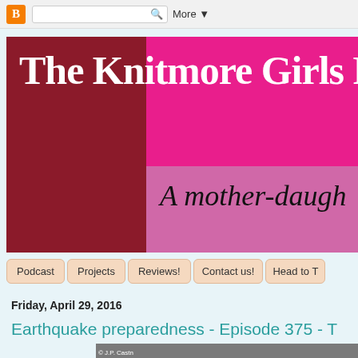Blogger top navigation bar with search box and More button
[Figure (screenshot): The Knitmore Girls Podcast blog header banner — dark red left panel and hot pink right panel with the blog title in white serif font, subtitle 'A mother-daugh...' in dark italic text on pink panel]
Podcast
Projects
Reviews!
Contact us!
Head to T...
Friday, April 29, 2016
Earthquake preparedness - Episode 375 - T...
[Figure (photo): Partial photo with copyright mark '© J.P. Castn' visible at top left, showing beginning of an image]